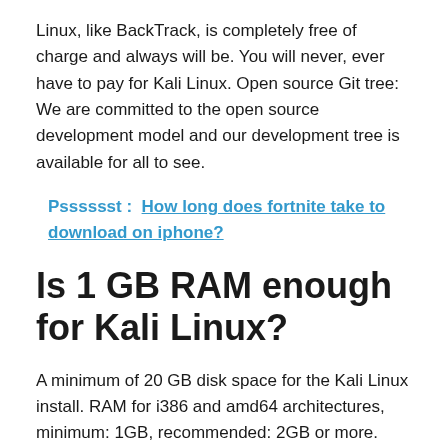Linux, like BackTrack, is completely free of charge and always will be. You will never, ever have to pay for Kali Linux. Open source Git tree: We are committed to the open source development model and our development tree is available for all to see.
Psssssst :  How long does fortnite take to download on iphone?
Is 1 GB RAM enough for Kali Linux?
A minimum of 20 GB disk space for the Kali Linux install. RAM for i386 and amd64 architectures, minimum: 1GB, recommended: 2GB or more.